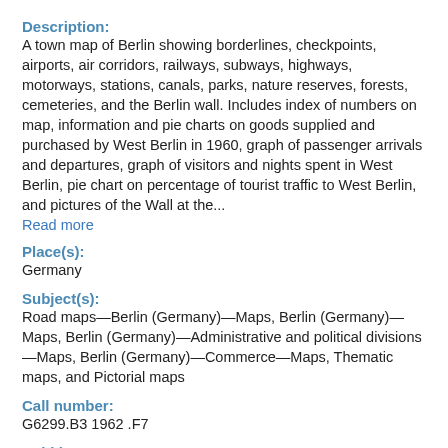Description:
A town map of Berlin showing borderlines, checkpoints, airports, air corridors, railways, subways, highways, motorways, stations, canals, parks, nature reserves, forests, cemeteries, and the Berlin wall. Includes index of numbers on map, information and pie charts on goods supplied and purchased by West Berlin in 1960, graph of passenger arrivals and departures, graph of visitors and nights spent in West Berlin, pie chart on percentage of tourist traffic to West Berlin, and pictures of the Wall at the...
Read more
Place(s):
Germany
Subject(s):
Road maps—Berlin (Germany)—Maps, Berlin (Germany)—Maps, Berlin (Germany)—Administrative and political divisions—Maps, Berlin (Germany)—Commerce—Maps, Thematic maps, and Pictorial maps
Call number:
G6299.B3 1962 .F7
Held by: